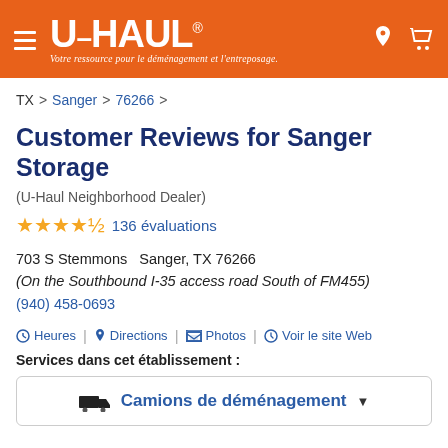U-HAUL® Votre ressource pour le déménagement et l'entreposage.
TX > Sanger > 76266 >
Customer Reviews for Sanger Storage
(U-Haul Neighborhood Dealer)
★★★★½ 136 évaluations
703 S Stemmons  Sanger, TX 76266
(On the Southbound I-35 access road South of FM455)
(940) 458-0693
⊙ Heures | ⊙ Directions | ⊙ Photos | ⊙ Voir le site Web
Services dans cet établissement :
🚚 Camions de déménagement ▼